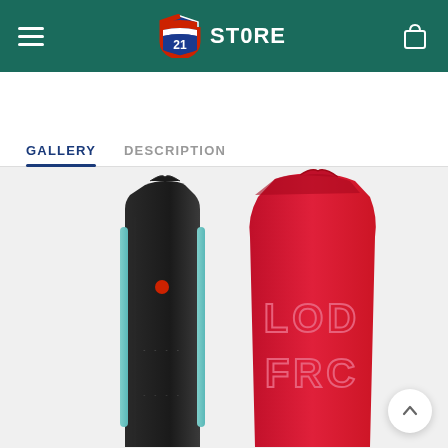21 ST0RE
GALLERY   DESCRIPTION
[Figure (photo): Two products shown side by side: a black vape/pod device on the left and a red drawstring bag with 'LOD FRC' text on the right, displayed in a gallery section on the 21 ST0RE website.]